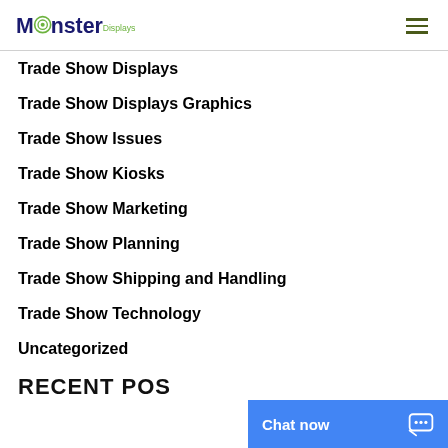Monster Displays
Trade Show Displays
Trade Show Displays Graphics
Trade Show Issues
Trade Show Kiosks
Trade Show Marketing
Trade Show Planning
Trade Show Shipping and Handling
Trade Show Technology
Uncategorized
RECENT POSTS